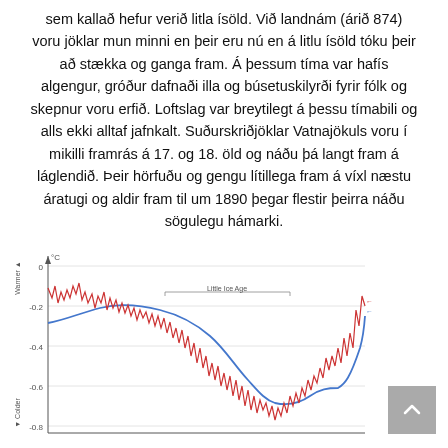sem kallað hefur verið litla ísöld. Við landnám (árið 874) voru jöklar mun minni en þeir eru nú en á litlu ísöld tóku þeir að stækka og ganga fram. Á þessum tíma var hafís algengur, gróður dafnaði illa og búsetuskilyrði fyrir fólk og skepnur voru erfið. Loftslag var breytilegt á þessu tímabili og alls ekki alltaf jafnkalt. Suðurskriðjöklar Vatnajökuls voru í mikilli framrás á 17. og 18. öld og náðu þá langt fram á láglendið. Þeir hörfuðu og gengu lítillega fram á víxl næstu áratugi og aldir fram til um 1890 þegar flestir þeirra náðu sögulegu hámarki.
[Figure (continuous-plot): Temperature anomaly chart showing two curves (red jagged line and blue smoothed line) over time from approximately 1000 AD to 2000 AD. Y-axis shows temperature in °C from about 0 to -0.8, with 'Warmer' at top and 'Colder' at bottom. A bracket labeled 'Little Ice Age' spans roughly 1300-1850. The blue curve shows a broad cooling trough while the red curve shows high-frequency variation.]